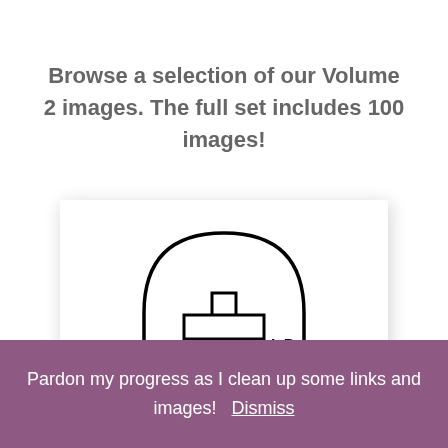Browse a selection of our Volume 2 images. The full set includes 100 images!
[Figure (illustration): A hand-drawn illustration of a rounded tombstone/archway shape with a cross symbol inside, flanked by text 'c. 64-' on the left and 'A.D. 280' on the right.]
Pardon my progress as I clean up some links and images! Dismiss